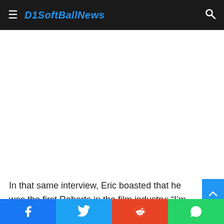D1SoftBallNews
[Figure (other): White advertisement/content placeholder area]
In that same interview, Eric boasted that he was the first Roberts in the film industry: “I’m very proud that everyone knows that I was the first. Because I was the first by far. I w
[Figure (other): Social media share bar with Facebook, Twitter, Reddit, and WhatsApp buttons]